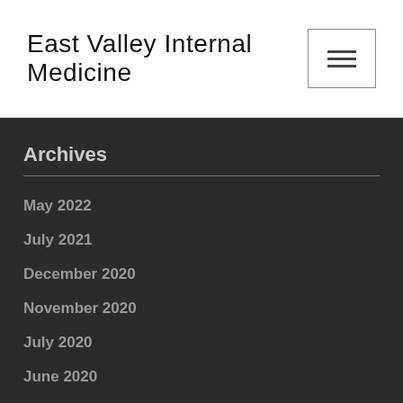East Valley Internal Medicine
Archives
May 2022
July 2021
December 2020
November 2020
July 2020
June 2020